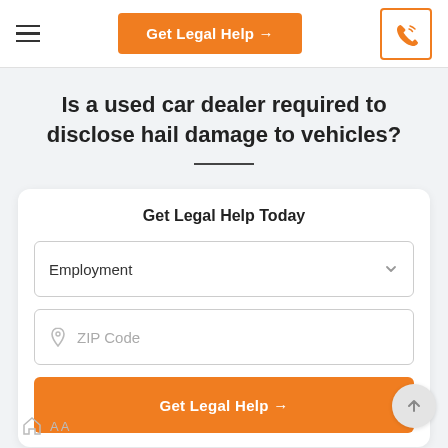Get Legal Help →
Is a used car dealer required to disclose hail damage to vehicles?
Get Legal Help Today
Employment (dropdown)
ZIP Code (input)
Get Legal Help →